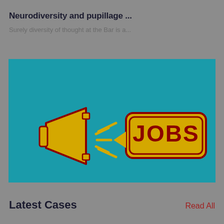Neurodiversity and pupillage ...
Surely diversity of thought at the Bar is a...
[Figure (illustration): A yellow megaphone on a teal background with a yellow speech bubble containing the word JOBS in bold dark red letters, outlined in dark red.]
Latest Cases
Read All